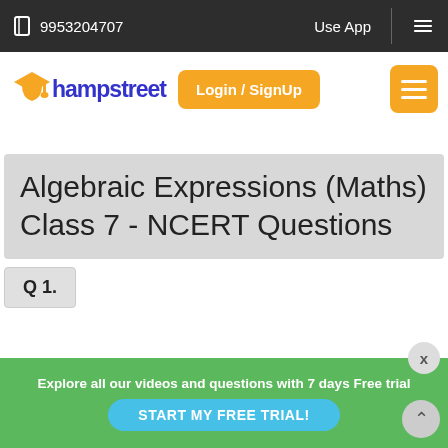9953204707  Use App
[Figure (logo): Champstreet logo with orange graduation cap and blue text]
Login / SignUp
Algebraic Expressions (Maths) Class 7 - NCERT Questions
Q 1.
Explore all our videos and questions with 7 days Free trial
START MY FREE TRIAL!